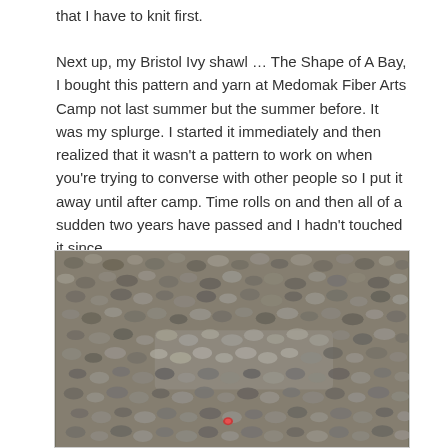that I have to knit first.
Next up, my Bristol Ivy shawl … The Shape of A Bay, I bought this pattern and yarn at Medomak Fiber Arts Camp not last summer but the summer before. It was my splurge. I started it immediately and then realized that it wasn't a pattern to work on when you're trying to converse with other people so I put it away until after camp. Time rolls on and then all of a sudden two years have passed and I hadn't touched it since.
[Figure (photo): Close-up photograph of a knitted fabric with a textured lace or cable pattern in grey/brown heathered yarn, with a small red stitch marker visible near the bottom.]